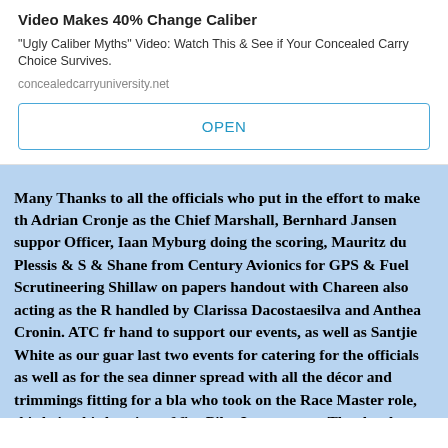Video Makes 40% Change Caliber
"Ugly Caliber Myths" Video: Watch This & See if Your Concealed Carry Choice Survives.
concealedcarryuniversity.net
OPEN
Many Thanks to all the officials who put in the effort to make th Adrian Cronje as the Chief Marshall, Bernhard Jansen suppor Officer, Iaan Myburg doing the scoring, Mauritz du Plessis & S & Shane from Century Avionics for GPS & Fuel Scrutineering Shillaw on papers handout with Chareen also acting as the R handled by Clarissa Dacostaesilva and Anthea Cronin. ATC fr hand to support our events, as well as Santjie White as our guar last two events for catering for the officials as well as for the sea dinner spread with all the décor and trimmings fitting for a bla who took on the Race Master role, this being his baptism of fire Pilot Insure team. Thanks also extended to the team at Springs, graciously supported the officials in their hangar and Gavin Br the gala dinner.